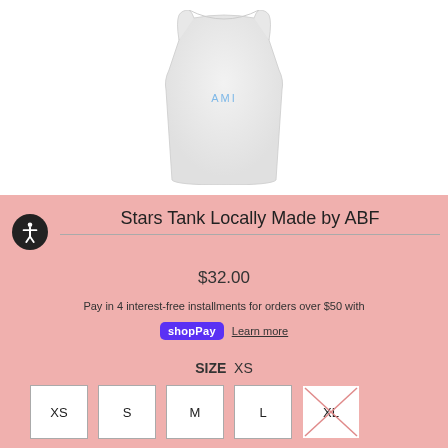[Figure (photo): White/light gray tank top with 'AMI' text in blue on the front, shown from front view on white background]
Stars Tank Locally Made by ABF
$32.00
Pay in 4 interest-free installments for orders over $50 with Shop Pay Learn more
SIZE XS
XS S M L XL